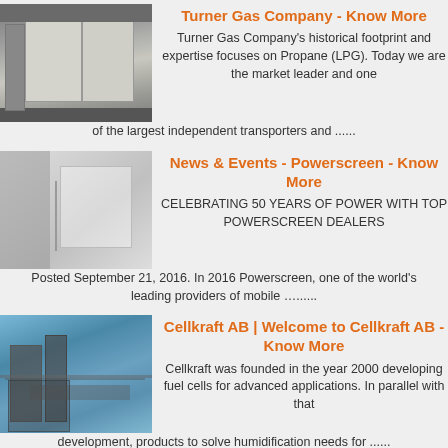[Figure (photo): Industrial building interior with large white panels, pipes visible]
Turner Gas Company - Know More
Turner Gas Company's historical footprint and expertise focuses on Propane (LPG). Today we are the market leader and one of the largest independent transporters and ......
[Figure (photo): Light-colored building exterior or wall with window]
News & Events - Powerscreen - Know More
CELEBRATING 50 YEARS OF POWER WITH TOP POWERSCREEN DEALERS Posted September 21, 2016. In 2016 Powerscreen, one of the world's leading providers of mobile …......
[Figure (photo): Industrial facility with large metal structures, stairs, and blue sky]
Cellkraft AB | Welcome to Cellkraft AB - Know More
Cellkraft was founded in the year 2000 developing fuel cells for advanced applications. In parallel with that development, products to solve humidification needs for ......